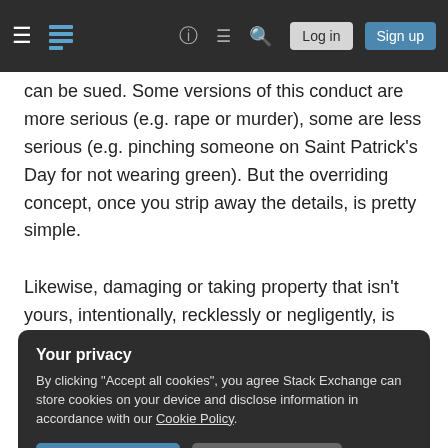Stack Exchange navigation bar with hamburger menu, logo, help, chat, search, Log in, Sign up
can be sued. Some versions of this conduct are more serious (e.g. rape or murder), some are less serious (e.g. pinching someone on Saint Patrick's Day for not wearing green). But the overriding concept, once you strip away the details, is pretty simple.
Likewise, damaging or taking property that isn't yours, intentionally, recklessly or negligently, is almost always either a crime and/or a civil wrong called a tort for which you can be sued.
Your privacy
By clicking "Accept all cookies", you agree Stack Exchange can store cookies on your device and disclose information in accordance with our Cookie Policy.
Accept all cookies   Customize settings
help, if necessary, and you are well on your way to